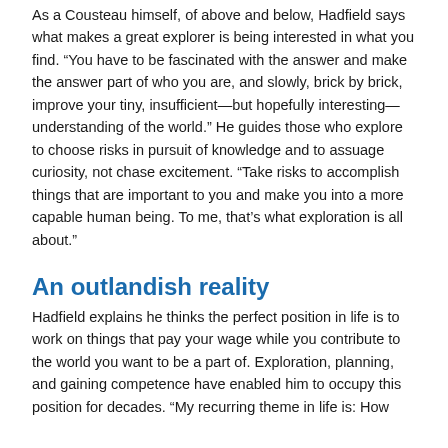As a Cousteau himself, of above and below, Hadfield says what makes a great explorer is being interested in what you find. “You have to be fascinated with the answer and make the answer part of who you are, and slowly, brick by brick, improve your tiny, insufficient—but hopefully interesting—understanding of the world.” He guides those who explore to choose risks in pursuit of knowledge and to assuage curiosity, not chase excitement. “Take risks to accomplish things that are important to you and make you into a more capable human being. To me, that’s what exploration is all about.”
An outlandish reality
Hadfield explains he thinks the perfect position in life is to work on things that pay your wage while you contribute to the world you want to be a part of. Exploration, planning, and gaining competence have enabled him to occupy this position for decades. “My recurring theme in life is: How